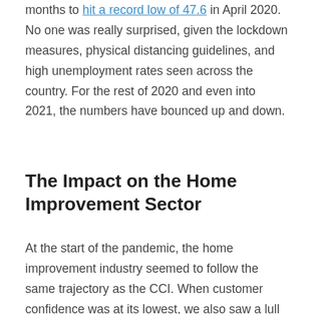months to hit a record low of 47.6 in April 2020. No one was really surprised, given the lockdown measures, physical distancing guidelines, and high unemployment rates seen across the country. For the rest of 2020 and even into 2021, the numbers have bounced up and down.
The Impact on the Home Improvement Sector
At the start of the pandemic, the home improvement industry seemed to follow the same trajectory as the CCI. When customer confidence was at its lowest, we also saw a lull in business with a dip in new loan applications. In the first four months of 2020, loan applications